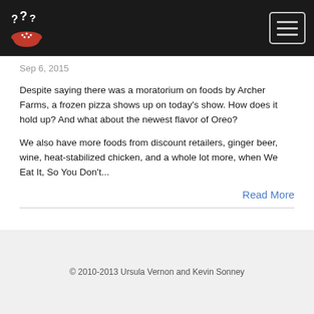Sep 6, 2015
Despite saying there was a moratorium on foods by Archer Farms, a frozen pizza shows up on today's show. How does it hold up? And what about the newest flavor of Oreo?
We also have more foods from discount retailers, ginger beer, wine, heat-stabilized chicken, and a whole lot more, when We Eat It, So You Don't...
Read More
© 2010-2013 Ursula Vernon and Kevin Sonney